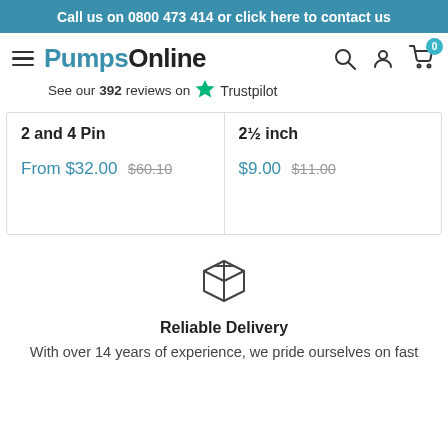Call us on 0800 473 414 or click here to contact us
[Figure (logo): PumpsOnline logo with hamburger menu icon]
See our 392 reviews on ★ Trustpilot
| Product | Price | Original Price |
| --- | --- | --- |
| 2 and 4 Pin | From $32.00 | $60.10 |
| 2½ inch | $9.00 | $11.00 |
[Figure (illustration): Package/box delivery icon]
Reliable Delivery
With over 14 years of experience, we pride ourselves on fast